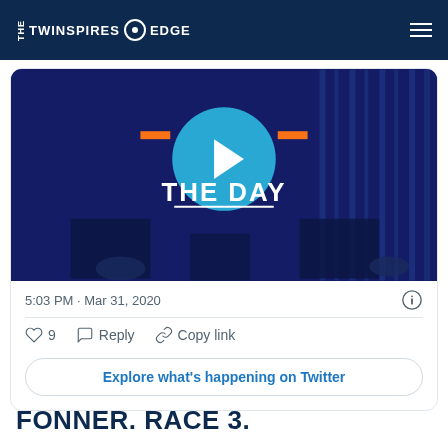THE TWINSPIRES EDGE
[Figure (screenshot): Twitter embedded tweet showing a video thumbnail with 'THE DAY' text on a dark blue background with lighting equipment]
5:03 PM · Mar 31, 2020
♡ 9   Reply   Copy link
Explore what's happening on Twitter
FONNER. RACE 3.